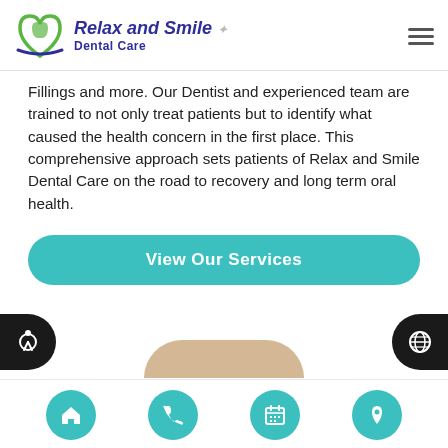[Figure (logo): Relax and Smile Dental Care logo with heart/tooth icon in green and blue, italic bold text and decorative sparkle]
Fillings and more. Our Dentist and experienced team are trained to not only treat patients but to identify what caused the health concern in the first place. This comprehensive approach sets patients of Relax and Smile Dental Care on the road to recovery and long term oral health.
View Our Services
[Figure (screenshot): Bottom navigation bar with four teal circular icons: home, phone, calendar, location pin. Two black half-circle accessibility buttons on left and right edges. Beige arc visible at bottom center.]